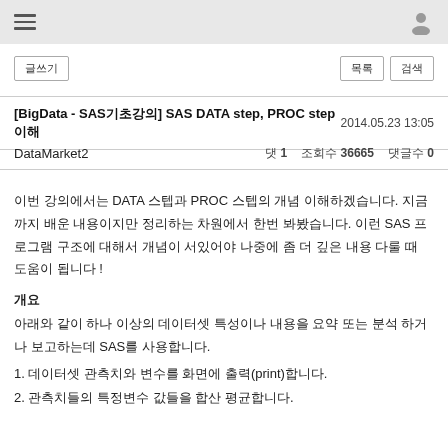[BigData - SAS기초강의] SAS DATA step, PROC step 이해   2014.05.23 13:05
DataMarket2   댓 1   조회수 36665   댓글수 0
이번 강의에서는 DATA 스텝과 PROC 스텝의 개념 이해하겠습니다. 지금까지 배운 내용이지만 정리하는 차원에서 한번 봐봤습니다. 이런 SAS 프로그램 구조에 대해서 개념이 서있어야 나중에 좀 더 깊은 내용 다룰 때 도움이 됩니다 !
개요
아래와 같이 하나 이상의 데이터셋 특성이나 내용을 요약 또는 분석 하거나 보고하는데 SAS를 사용합니다.
1. 데이터셋 관측치와 변수를 화면에 출력(print)합니다.
2. 관측치들의 특정변수 값들을 합산 평균합니다.